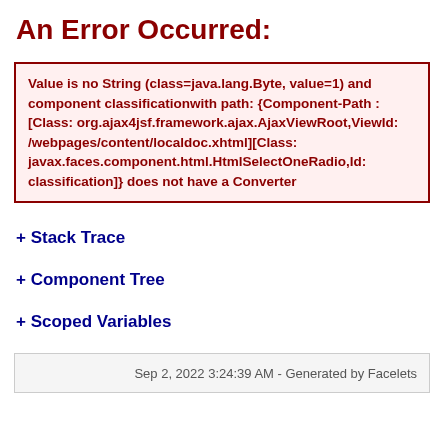An Error Occurred:
Value is no String (class=java.lang.Byte, value=1) and component classificationwith path: {Component-Path : [Class: org.ajax4jsf.framework.ajax.AjaxViewRoot,ViewId: /webpages/content/localdoc.xhtml][Class: javax.faces.component.html.HtmlSelectOneRadio,Id: classification]} does not have a Converter
+ Stack Trace
+ Component Tree
+ Scoped Variables
Sep 2, 2022 3:24:39 AM - Generated by Facelets